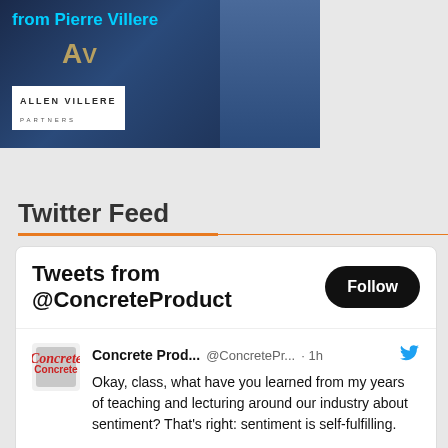[Figure (photo): Banner image showing 'from Pierre Villere' text in cyan on dark blue background with Allen Villere Partners logo and a man in suit with orange tie]
Twitter Feed
Tweets from @ConcreteProduct
Concrete Prod... @ConcretePr... · 1h
Okay, class, what have you learned from my years of teaching and lecturing around our industry about sentiment? That's right: sentiment is self-fulfilling.

Read the latest column from @AllenVillere: ow.ly/pgL550KjxAf

#economy #gasprices #inflation